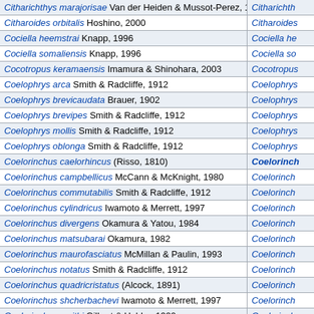| Species | Genus |
| --- | --- |
| Citharichthys marajorisae Van der Heiden & Mussot-Perez, 1995 | Citharichth... |
| Citharoides orbitalis Hoshino, 2000 | Citharoides... |
| Cociella heemstrai Knapp, 1996 | Cociella he... |
| Cociella somaliensis Knapp, 1996 | Cociella so... |
| Cocotropus keramaensis Imamura & Shinohara, 2003 | Cocotropus... |
| Coelophrys arca Smith & Radcliffe, 1912 | Coelophrys... |
| Coelophrys brevicaudata Brauer, 1902 | Coelophrys... |
| Coelophrys brevipes Smith & Radcliffe, 1912 | Coelophrys... |
| Coelophrys mollis Smith & Radcliffe, 1912 | Coelophrys... |
| Coelophrys oblonga Smith & Radcliffe, 1912 | Coelophrys... |
| Coelorinchus caelorhincus (Risso, 1810) | Coelorinch... |
| Coelorinchus campbellicus McCann & McKnight, 1980 | Coelorinch... |
| Coelorinchus commutabilis Smith & Radcliffe, 1912 | Coelorinch... |
| Coelorinchus cylindricus Iwamoto & Merrett, 1997 | Coelorinch... |
| Coelorinchus divergens Okamura & Yatou, 1984 | Coelorinch... |
| Coelorinchus matsubarai Okamura, 1982 | Coelorinch... |
| Coelorinchus maurofasciatus McMillan & Paulin, 1993 | Coelorinch... |
| Coelorinchus notatus Smith & Radcliffe, 1912 | Coelorinch... |
| Coelorinchus quadricristatus (Alcock, 1891) | Coelorinch... |
| Coelorinchus shcherbachevi Iwamoto & Merrett, 1997 | Coelorinch... |
| Coelorinchus smithi Gilbert & Hubbs, 1920 | Coelorinch... |
| Coelorinchus spinifer Gilbert & Hubbs, 1920 | Coelorinch... |